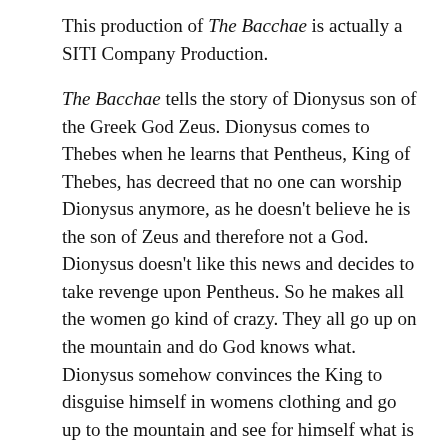This production of The Bacchae is actually a SITI Company Production.
The Bacchae tells the story of Dionysus son of the Greek God Zeus. Dionysus comes to Thebes when he learns that Pentheus, King of Thebes, has decreed that no one can worship Dionysus anymore, as he doesn't believe he is the son of Zeus and therefore not a God. Dionysus doesn't like this news and decides to take revenge upon Pentheus. So he makes all the women go kind of crazy. They all go up on the mountain and do God knows what. Dionysus somehow convinces the King to disguise himself in womens clothing and go up to the mountain and see for himself what is going on. We are later told that the women tore him apart not knowing what they were doing. His Mom even comes home with his head in a bag, though she is under the delusion that it is the head of a lion. The